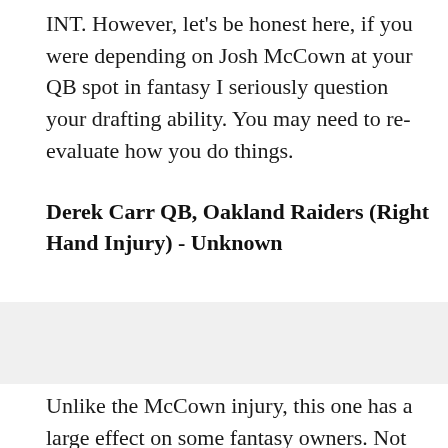INT. However, let's be honest here, if you were depending on Josh McCown at your QB spot in fantasy I seriously question your drafting ability. You may need to re-evaluate how you do things.
Derek Carr QB, Oakland Raiders (Right Hand Injury) - Unknown
Unlike the McCown injury, this one has a large effect on some fantasy owners. Not because many were necessarily starting Carr, but rather his rookie WR Amari Cooper. Cooper was expected to be a favorite target of Carr and if he's out for a long stretch, Cooper's numbers could be seriously affected by it. The back up in Oakland is Matt McCloin who I